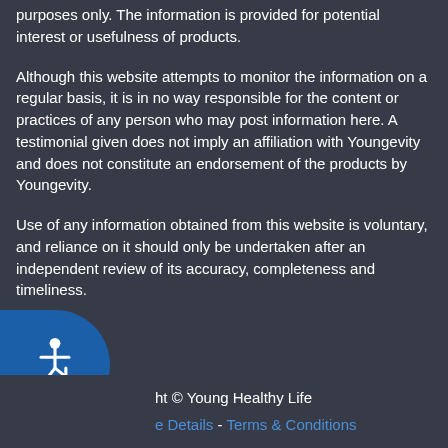purposes only. The information is provided for potential interest or usefulness of products.
Although this website attempts to monitor the information on a regular basis, it is in no way responsible for the content or practices of any person who may post information here. A testimonial given does not imply an affiliation with Youngevity and does not constitute an endorsement of the products by Youngevity.
Use of any information obtained from this website is voluntary, and reliance on it should only be undertaken after an independent review of its accuracy, completeness and timeliness.
ht © Young Healthy Life
e Details - Terms & Conditions